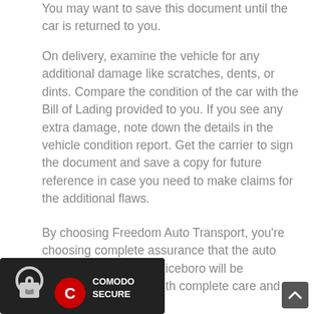You may want to save this document until the car is returned to you.
On delivery, examine the vehicle for any additional damage like scratches, dents, or dints. Compare the condition of the car with the Bill of Lading provided to you. If you see any extra damage, note down the details in the vehicle condition report. Get the carrier to sign the document and save a copy for future reference in case you need to make claims for the additional flaws.
By choosing Freedom Auto Transport, you’re choosing complete assurance that the auto shipping to and from Riceboro will be conducted with complete care and that yo
[Figure (logo): Comodo Secure badge with padlock icon and red C logo]